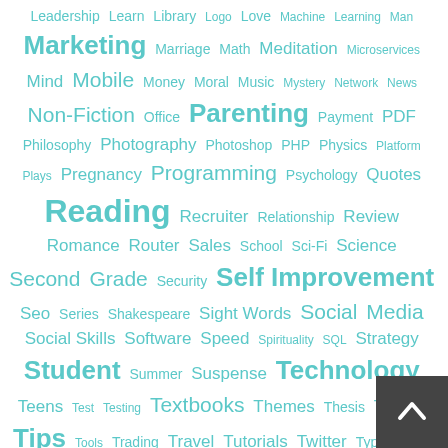Leadership Learn Library Logo Love Machine Learning Man Marketing Marriage Math Meditation Microservices Mind Mobile Money Moral Music Mystery Network News Non-Fiction Office Parenting Payment PDF Philosophy Photography Photoshop PHP Physics Platform Plays Pregnancy Programming Psychology Quotes Reading Recruiter Relationship Review Romance Router Sales School Sci-Fi Science Second Grade Security Self Improvement Seo Series Shakespeare Sight Words Social Media Social Skills Software Speed Spirituality SQL Strategy Student Summer Suspense Technology Teens Test Testing Textbooks Themes Thesis Thriller Tips Tools Trading Travel Tutorials Twitter Typing USB Vampire Video Vocabulary VPN War Website WiFi Windows 8 Woman Wordlist WordPress Work